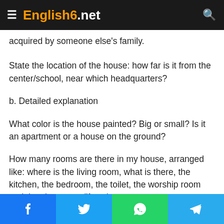English6.net
acquired by someone else's family.
State the location of the house: how far is it from the center/school, near which headquarters?
b. Detailed explanation
What color is the house painted? Big or small? Is it an apartment or a house on the ground?
How many rooms are there in my house, arranged like: where is the living room, what is there, the kitchen, the bedroom, the toilet, the worship room and the classroom (if any).
Facebook | Twitter | WhatsApp | Telegram